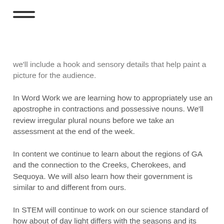[Figure (other): Hamburger menu icon (three horizontal lines)]
we'll include a hook and sensory details that help paint a picture for the audience.
In Word Work we are learning how to appropriately use an apostrophe in contractions and possessive nouns. We'll review irregular plural nouns before we take an assessment at the end of the week.
In content we continue to learn about the regions of GA and the connection to the Creeks, Cherokees, and Sequoya. We will also learn how their government is similar to and different from ours.
In STEM will continue to work on our science standard of how about of day light differs with the seasons and its effect  on trees. We will imagine, plan, and build a model of the summer tree we observed a few weeks back. We'll use this model to observe the same tree